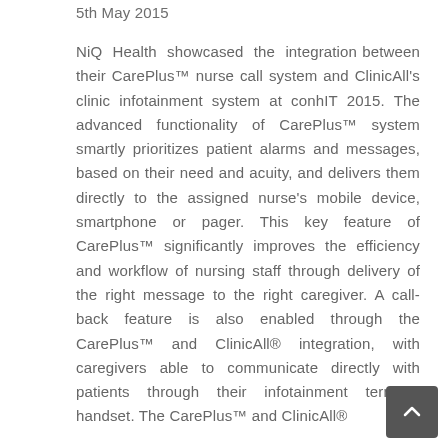5th May 2015
NiQ Health showcased the integration between their CarePlus™ nurse call system and ClinicAll's clinic infotainment system at conhIT 2015. The advanced functionality of CarePlus™ system smartly prioritizes patient alarms and messages, based on their need and acuity, and delivers them directly to the assigned nurse's mobile device, smartphone or pager. This key feature of CarePlus™ significantly improves the efficiency and workflow of nursing staff through delivery of the right message to the right caregiver. A call-back feature is also enabled through the CarePlus™ and ClinicAll® integration, with caregivers able to communicate directly with patients through their infotainment terminal handset. The CarePlus™ and ClinicAll®